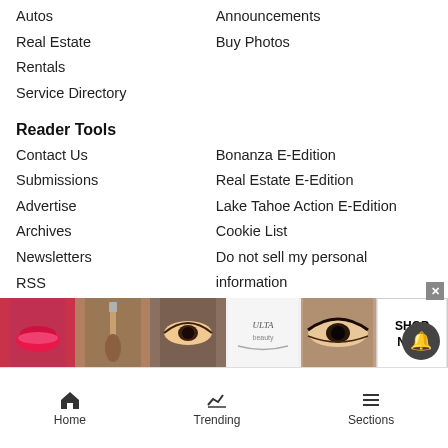Autos
Announcements
Real Estate
Buy Photos
Rentals
Service Directory
Reader Tools
Contact Us
Bonanza E-Edition
Submissions
Real Estate E-Edition
Advertise
Lake Tahoe Action E-Edition
Archives
Cookie List
Newsletters
Do not sell my personal information
RSS
Tahoe Daily Tribune E-Edition
News Neighbors
Sierra Sun
Grass Valley-California
[Figure (photo): Ulta Beauty advertisement banner showing makeup products — lips, brush, eye, logo, eye close-up, and Shop Now button]
Home  Trending  Sections